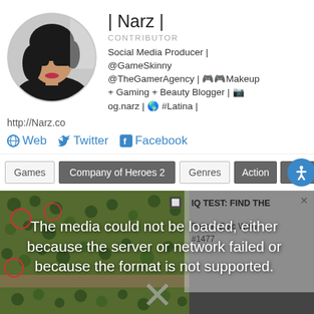[Figure (photo): Circular profile photo of a woman wearing large dark sunglasses with dark hair]
| Narz |
CONTRIBUTOR
Social Media Producer | @GameSkinny @TheGamerAgency | 🎮Makeup + Gaming + Beauty Blogger | 📷og.narz | 🌎 #Latina |
http://Narz.co
🌐 Web 🐦 Twitter f Facebook
Games
Company of Heroes 2
Genres
Action
Simulation
[Figure (screenshot): Game screenshot showing top-down strategy game view, overlaid with media error message: 'The media could not be loaded, either because the server or network failed or because the format is not supported.' and a side panel showing 'IQ TEST: FIND THE Fails & Epic Wins! #1477']
Popular in the Community